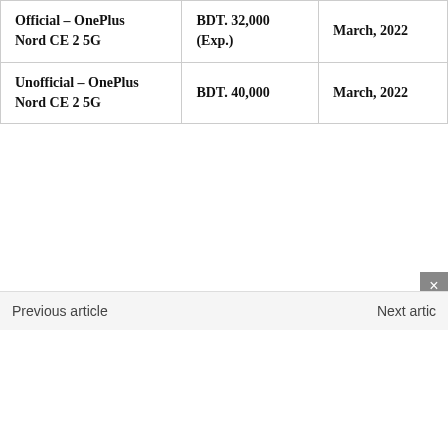| Official – OnePlus Nord CE 2 5G | BDT. 32,000 (Exp.) | March, 2022 |
| Unofficial – OnePlus Nord CE 2 5G | BDT. 40,000 | March, 2022 |
Previous article   Next artic